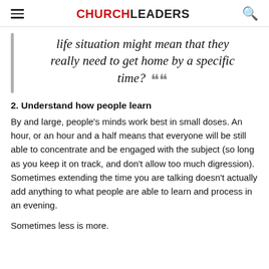CHURCHLEADERS
life situation might mean that they really need to get home by a specific time?
2. Understand how people learn
By and large, people's minds work best in small doses. An hour, or an hour and a half means that everyone will be still able to concentrate and be engaged with the subject (so long as you keep it on track, and don't allow too much digression). Sometimes extending the time you are talking doesn't actually add anything to what people are able to learn and process in an evening.
Sometimes less is more.